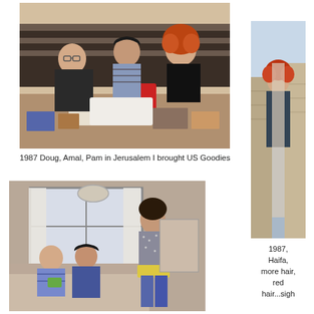[Figure (photo): Three people posing together in a living room setting, surrounded by items on the floor including a Ritz crackers box. Left to right: Doug, Amal, Pam. Taken in Jerusalem, 1987.]
1987 Doug, Amal, Pam in Jerusalem I brought US Goodies
[Figure (photo): Group of people in a living room, one person standing wearing a sparkly grey top with a yellow cloth around waist, others seated on a couch. 1987.]
[Figure (photo): Narrow vertical photo of a person outdoors in Haifa, 1987, noted for having more hair and red hair.]
1987, Haifa, more hair, red hair...sigh